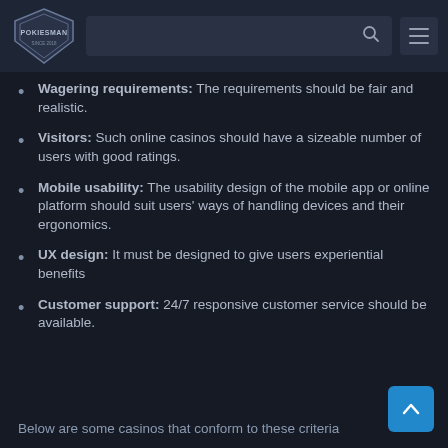Pokiesman [logo] [search bar] [menu]
Wagering requirements: The requirements should be fair and realistic.
Visitors: Such online casinos should have a sizeable number of users with good ratings.
Mobile usability: The usability design of the mobile app or online platform should suit users' ways of handling devices and their ergonomics.
UX design: It must be designed to give users experiential benefits
Customer support: 24/7 responsive customer service should be available.
Below are some casinos that conform to these criteria